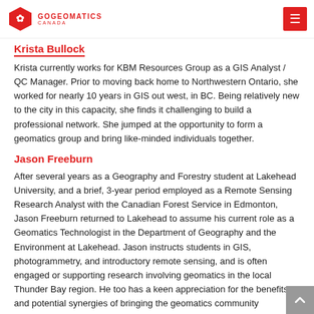GoGeomatics Canada
Krista Bullock
Krista currently works for KBM Resources Group as a GIS Analyst / QC Manager. Prior to moving back home to Northwestern Ontario, she worked for nearly 10 years in GIS out west, in BC. Being relatively new to the city in this capacity, she finds it challenging to build a professional network. She jumped at the opportunity to form a geomatics group and bring like-minded individuals together.
Jason Freeburn
After several years as a Geography and Forestry student at Lakehead University, and a brief, 3-year period employed as a Remote Sensing Research Analyst with the Canadian Forest Service in Edmonton, Jason Freeburn returned to Lakehead to assume his current role as a Geomatics Technologist in the Department of Geography and the Environment at Lakehead. Jason instructs students in GIS, photogrammetry, and introductory remote sensing, and is often engaged or supporting research involving geomatics in the local Thunder Bay region. He too has a keen appreciation for the benefits and potential synergies of bringing the geomatics community